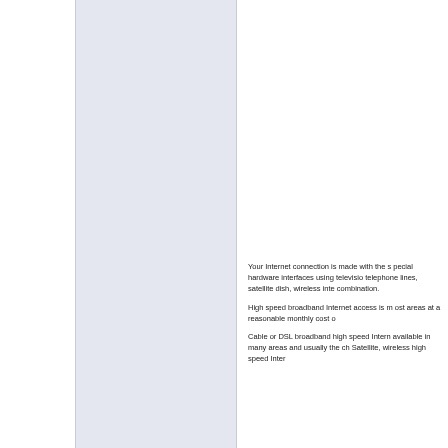[Figure (other): Light blue/grey shaded vertical panel on the left side of the page, serving as a decorative or navigational sidebar element.]
Your Internet connection is made with the special hardware interfaces using television telephone lines, satellite dish, wireless inte combination.

High speed broadband Internet access is most areas at a reasonable monthly cost c

Cable or DSL broadband high speed Intern available in many areas and usually the ch Satellite, wireless high speed Intern